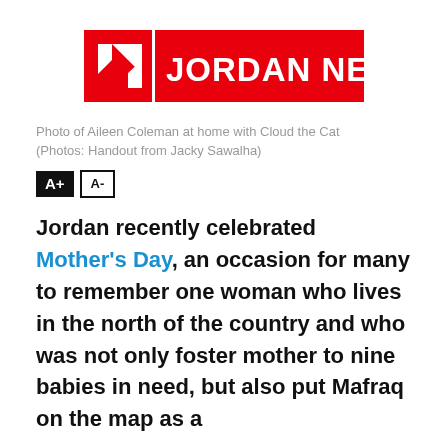[Figure (logo): Jordan News logo — red rectangle with white N arrow icon and white bold text JORDAN NEWS]
Photo of Aileen Coleman at home with Cloud the Cat (Photos: Handout from Jacky Sawalha)
A+ A-
Jordan recently celebrated Mother's Day, an occasion for many to remember one woman who lives in the north of the country and who was not only foster mother to nine babies in need, but also put Mafraq on the map as a